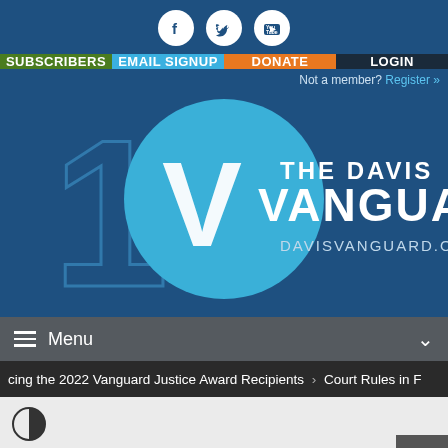[Figure (logo): Social media icons (Facebook, Twitter, YouTube) in white circles on blue background]
SUBSCRIBERS | EMAIL SIGNUP | DONATE | LOGIN
Not a member? Register »
[Figure (logo): The Davis Vanguard logo — 10th anniversary with large '1' and circle containing 'V', text 'THE DAVIS VANGUARD' and 'DAVISVANGUARD.ORG' on dark blue background]
≡ Menu
cing the 2022 Vanguard Justice Award Recipients › Court Rules in F